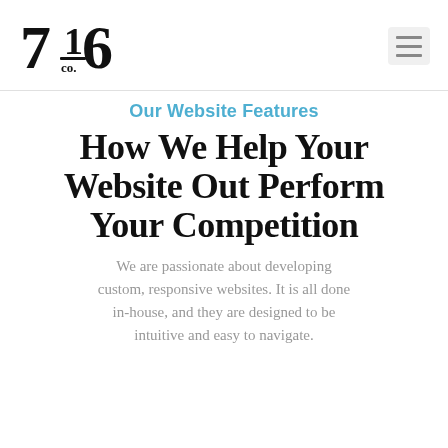[Figure (logo): 716 Co. logo in bold serif black text]
Our Website Features
How We Help Your Website Out Perform Your Competition
We are passionate about developing custom, responsive websites. It is all done in-house, and they are designed to be intuitive and easy to navigate.